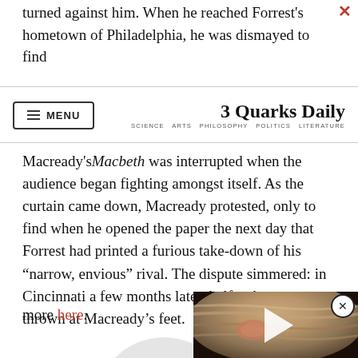turned against him. When he reached Forrest’s hometown of Philadelphia, he was dismayed to find
3 Quarks Daily — SCIENCE ARTS PHILOSOPHY POLITICS LITERATURE
Macready’sMacbeth was interrupted when the audience began fighting amongst itself. As the curtain came down, Macready protested, only to find when he opened the paper the next day that Forrest had printed a furious take-down of his “narrow, envious” rival. The dispute simmered: in Cincinnati a few months later, half a sheep was thrown at Macready’s feet.
more here.
[Figure (screenshot): Video thumbnail placeholder showing a circular play button]
[Figure (photo): Video thumbnail of Jupiter with a play button overlay and close (X) button]